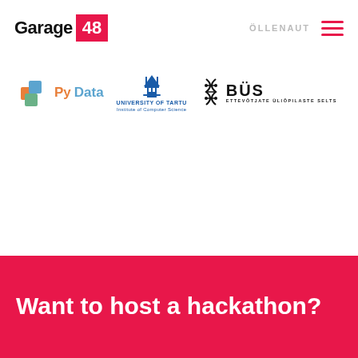[Figure (logo): Garage48 logo with pink/red box containing '48']
[Figure (logo): ÖLLENAUT logo (faded watermark)]
[Figure (logo): Hamburger menu icon in red/pink]
[Figure (logo): PyData logo with colorful cube icon]
[Figure (logo): University of Tartu Institute of Computer Science logo]
[Figure (logo): BÜS - Ettevõtjate Üliõpilaste Selts logo with DNA double helix icon]
Want to host a hackathon?